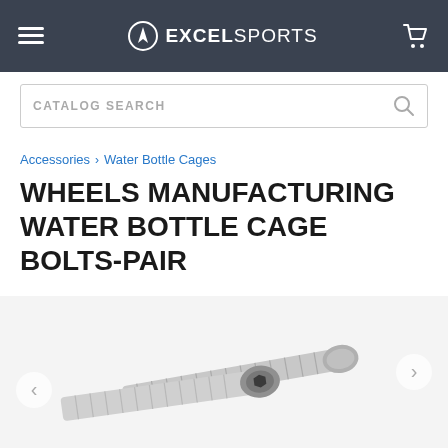Excel Sports
CATALOG SEARCH
Accessories > Water Bottle Cages
WHEELS MANUFACTURING WATER BOTTLE CAGE BOLTS-PAIR
[Figure (photo): Two stainless steel socket cap bolts (hex bolts) crossing each other diagonally, showing threaded shafts and hex socket heads, on a white background.]